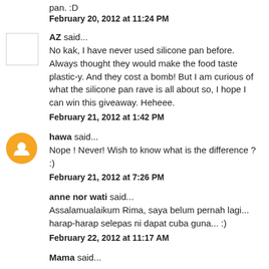pan. :D
February 20, 2012 at 11:24 PM
AZ said...
No kak, I have never used silicone pan before. Always thought they would make the food taste plastic-y. And they cost a bomb! But I am curious of what the silicone pan rave is all about so, I hope I can win this giveaway. Heheee.
February 21, 2012 at 1:42 PM
hawa said...
Nope ! Never! Wish to know what is the difference ? :)
February 21, 2012 at 7:26 PM
anne nor wati said...
Assalamualaikum Rima, saya belum pernah lagi... harap-harap selepas ni dapat cuba guna... :)
February 22, 2012 at 11:17 AM
Mama said...